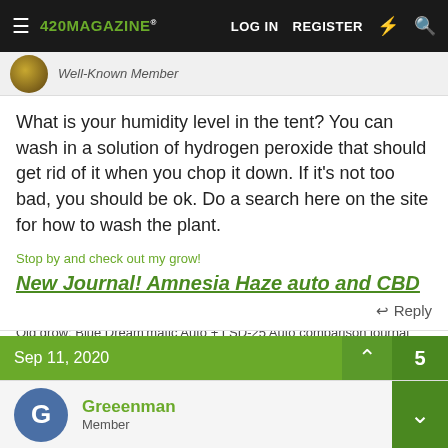420 MAGAZINE | LOG IN | REGISTER
What is your humidity level in the tent? You can wash in a solution of hydrogen peroxide that should get rid of it when you chop it down. If it's not too bad, you should be ok. Do a search here on the site for how to wash the plant.
Stop by and check out my grow!
New Journal! Amnesia Haze auto and CBD 20:1 Auto and OG Kush
Old grow: Blue Dream'matic Auto + LSD-25 Auto comparison journal
Reply
Sep 11, 2020
Greeenman
Member